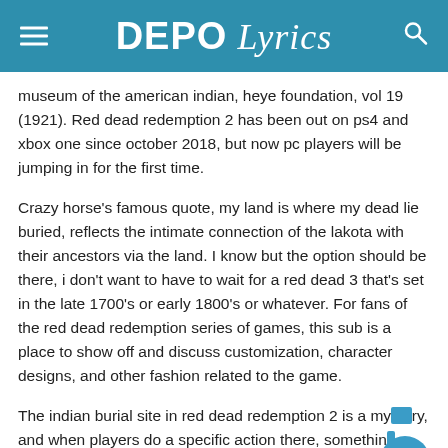DEPO Lyrics
museum of the american indian, heye foundation, vol 19 (1921). Red dead redemption 2 has been out on ps4 and xbox one since october 2018, but now pc players will be jumping in for the first time.
Crazy horse's famous quote, my land is where my dead lie buried, reflects the intimate connection of the lakota with their ancestors via the land. I know but the option should be there, i don't want to have to wait for a red dead 3 that's set in the late 1700's or early 1800's or whatever. For fans of the red dead redemption series of games, this sub is a place to show off and discuss customization, character designs, and other fashion related to the game.
The indian burial site in red dead redemption 2 is a mystery, and when players do a specific action there, something spooky will. Survival under the harshest of circumstances